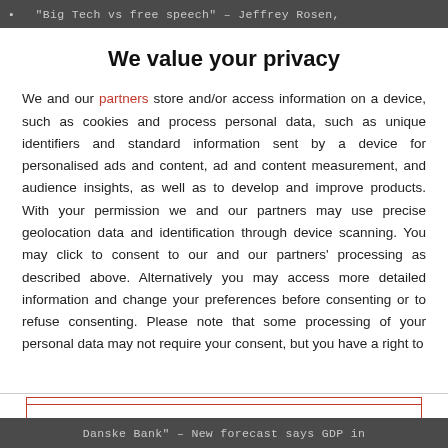"Big Tech vs free speech" – Jeffrey Rosen,
We value your privacy
We and our partners store and/or access information on a device, such as cookies and process personal data, such as unique identifiers and standard information sent by a device for personalised ads and content, ad and content measurement, and audience insights, as well as to develop and improve products. With your permission we and our partners may use precise geolocation data and identification through device scanning. You may click to consent to our and our partners' processing as described above. Alternatively you may access more detailed information and change your preferences before consenting or to refuse consenting. Please note that some processing of your personal data may not require your consent, but you have a right to
AGREE
MORE OPTIONS
Danske Bank" – New forecast says GDP in